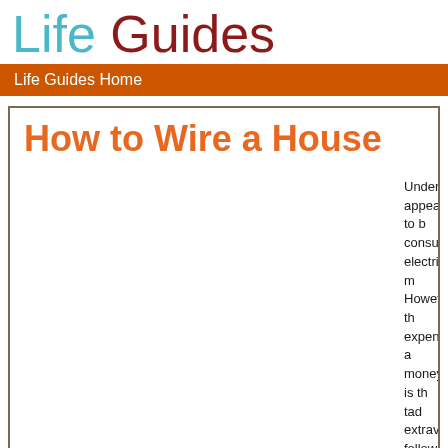Life Guides
Life Guides Home
How to Wire a House
Understanding how to wire a house may appear to be a complicated and time-consuming task that is best left to an electrician may be your first reaction. However, the process, while potentially expensive and if you feel that spending money is the ticket to success is perhaps a tad extravagant, by carefully reading and following the guidelines set out below you could do it yourself.
House Ele
In order to be able to wire a house properly you need to understand how electrical systems all your wires will either b